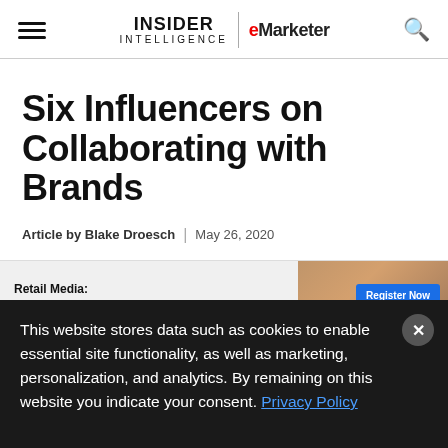Insider Intelligence | eMarketer
Six Influencers on Collaborating with Brands
Article by Blake Droesch | May 26, 2020
[Figure (screenshot): Advertisement banner: Retail Media: The Red-Hot Ad Market Brands Are Flocking To. Register Now button with image of woman.]
This website stores data such as cookies to enable essential site functionality, as well as marketing, personalization, and analytics. By remaining on this website you indicate your consent. Privacy Policy